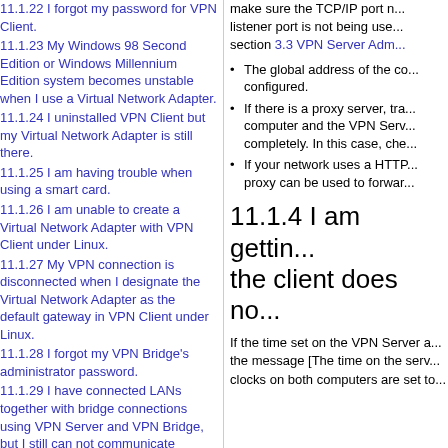11.1.22 I forgot my password for VPN Client.
11.1.23 My Windows 98 Second Edition or Windows Millennium Edition system becomes unstable when I use a Virtual Network Adapter.
11.1.24 I uninstalled VPN Client but my Virtual Network Adapter is still there.
11.1.25 I am having trouble when using a smart card.
11.1.26 I am unable to create a Virtual Network Adapter with VPN Client under Linux.
11.1.27 My VPN connection is disconnected when I designate the Virtual Network Adapter as the default gateway in VPN Client under Linux.
11.1.28 I forgot my VPN Bridge's administrator password.
11.1.29 I have connected LANs together with bridge connections using VPN Server and VPN Bridge, but I still can not communicate between computers on the LANs. What should I check?
11.1.30 I am getting a warning message in
make sure the TCP/IP port number of the listener port is not being used. See section 3.3 VPN Server Adm...
The global address of the co... configured.
If there is a proxy server, tra... computer and the VPN Ser... completely. In this case, che...
If your network uses a HTTP... proxy can be used to forwar...
11.1.4 I am gettin... the client does no...
If the time set on the VPN Server a... the message [The time on the serv... clocks on both computers are set to...